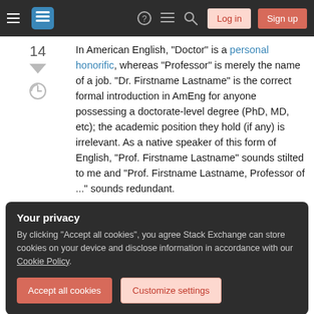Stack Exchange navigation bar with Log in and Sign up buttons
14
In American English, "Doctor" is a personal honorific, whereas "Professor" is merely the name of a job. "Dr. Firstname Lastname" is the correct formal introduction in AmEng for anyone possessing a doctorate-level degree (PhD, MD, etc); the academic position they hold (if any) is irrelevant. As a native speaker of this form of English, "Prof. Firstname Lastname" sounds stilted to me and "Prof. Firstname Lastname, Professor of ..." sounds redundant.
Your privacy
By clicking "Accept all cookies", you agree Stack Exchange can store cookies on your device and disclose information in accordance with our Cookie Policy.
run it by everyone and ask for corrections